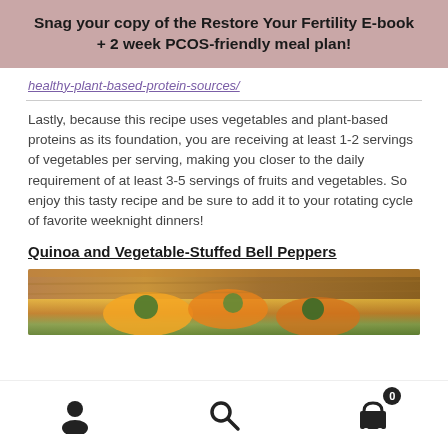Snag your copy of the Restore Your Fertility E-book + 2 week PCOS-friendly meal plan!
healthy-plant-based-protein-sources/
Lastly, because this recipe uses vegetables and plant-based proteins as its foundation, you are receiving at least 1-2 servings of vegetables per serving, making you closer to the daily requirement of at least 3-5 servings of fruits and vegetables. So enjoy this tasty recipe and be sure to add it to your rotating cycle of favorite weeknight dinners!
Quinoa and Vegetable-Stuffed Bell Peppers
[Figure (photo): Photo of stuffed bell peppers on a wooden surface]
Navigation bar with user, search, and cart icons